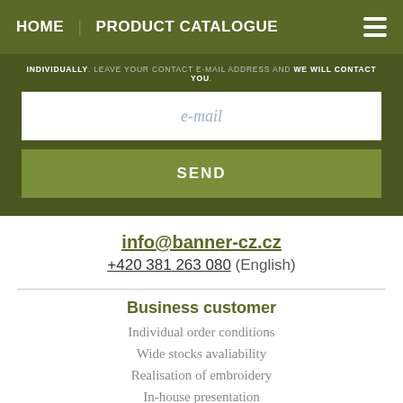HOME | PRODUCT CATALOGUE
INDIVIDUALLY. LEAVE YOUR CONTACT E-MAIL ADDRESS AND WE WILL CONTACT YOU.
e-mail
SEND
info@banner-cz.cz
+420 381 263 080 (English)
Business customer
Individual order conditions
Wide stocks avaliability
Realisation of embroidery
In-house presentation
Read more »